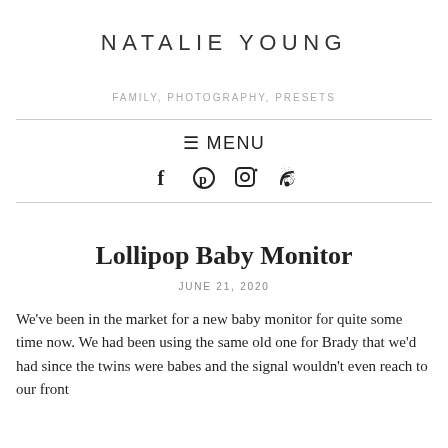NATALIE YOUNG
FAMILY, PHOTOGRAPHY, PRESETS
≡ MENU
[Figure (other): Social media icons: Facebook, Pinterest, Instagram, RSS feed]
Lollipop Baby Monitor
JUNE 21, 2020
We've been in the market for a new baby monitor for quite some time now. We had been using the same old one for Brady that we'd had since the twins were babes and the signal wouldn't even reach to our front